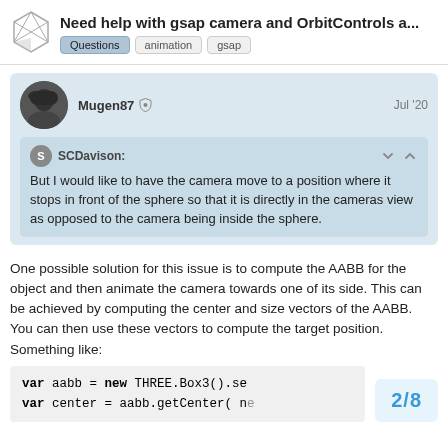Need help with gsap camera and OrbitControls a... | Questions animation gsap
Mugen87 | Jul '20
SCDavison:
But I would like to have the camera move to a position where it stops in front of the sphere so that it is directly in the cameras view as opposed to the camera being inside the sphere.
One possible solution for this issue is to compute the AABB for the object and then animate the camera towards one of its side. This can be achieved by computing the center and size vectors of the AABB. You can then use these vectors to compute the target position. Something like:
var aabb = new THREE.Box3().se
var center = aabb.getCenter( ne
2 / 8